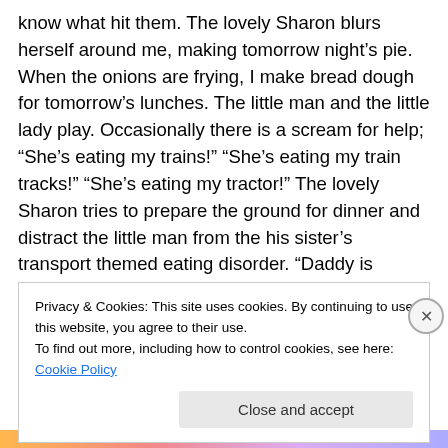know what hit them. The lovely Sharon blurs herself around me, making tomorrow night's pie. When the onions are frying, I make bread dough for tomorrow's lunches. The little man and the little lady play. Occasionally there is a scream for help; “She’s eating my trains!” “She’s eating my train tracks!” “She’s eating my tractor!” The lovely Sharon tries to prepare the ground for dinner and distract the little man from the his sister’s transport themed eating disorder. “Daddy is making Tortilla.” There is a pause of contemplation. “I not want tort-ee-a. I not like it.” I slave on regardless.
Privacy & Cookies: This site uses cookies. By continuing to use this website, you agree to their use.
To find out more, including how to control cookies, see here: Cookie Policy